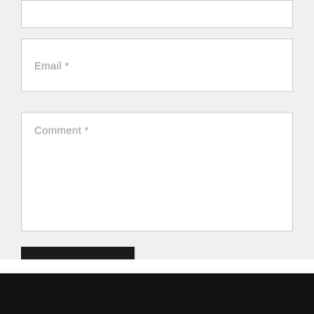Email *
Comment *
Post comment
Quick links